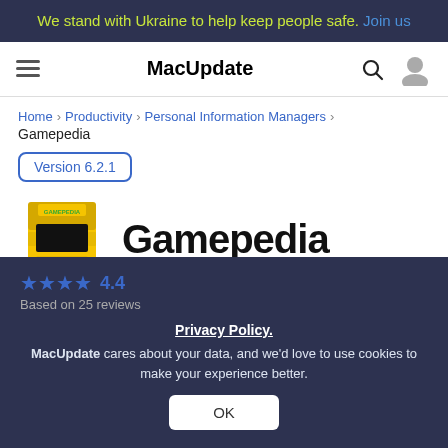We stand with Ukraine to help keep people safe. Join us
MacUpdate
Home > Productivity > Personal Information Managers >
Gamepedia
Version 6.2.1
[Figure (illustration): Yellow arcade cabinet app icon with GAMEPEDIA text]
Gamepedia
Catalog video and computer games.
Privacy Policy.
MacUpdate cares about your data, and we'd love to use cookies to make your experience better.